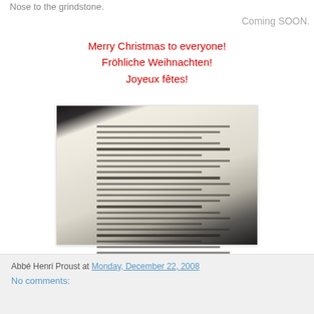Nose to the grindstone.
Coming SOON.
Merry Christmas to everyone!
Fröhliche Weihnachten!
Joyeux fêtes!
[Figure (photo): Photo of an open dictionary or book with dense text columns, shot at an angle on a dark surface]
Abbé Henri Proust at Monday, December 22, 2008
No comments: